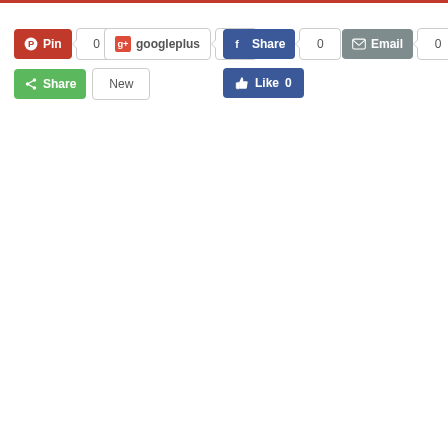[Figure (screenshot): Social media sharing buttons bar: Pinterest Pin (0), Google Plus (0), Facebook Share (0), Email (0), Share (New), Facebook Like (0)]